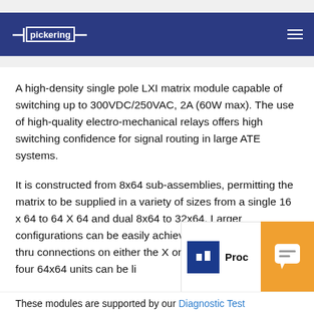Pickering
A high-density single pole LXI matrix module capable of switching up to 300VDC/250VAC, 2A (60W max). The use of high-quality electro-mechanical relays offers high switching confidence for signal routing in large ATE systems.
It is constructed from 8x64 sub-assemblies, permitting the matrix to be supplied in a variety of sizes from a single 16 x 64 to 64 X 64 and dual 8x64 to 32x64. Larger configurations can be easily achieved by utilizing the Loop thru connections on either the X or Y bus, for instance, four 64x64 units can be linked to create a 128x128 matrix.
These modules are supported by our Diagnostic Test